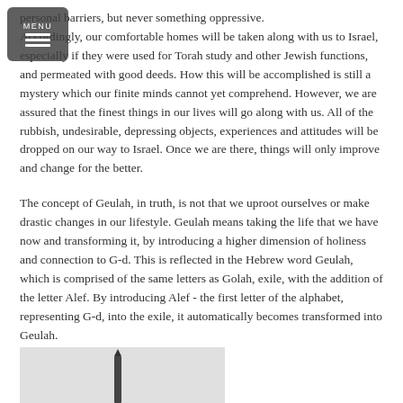personal barriers, but never something oppressive. Accordingly, our comfortable homes will be taken along with us to Israel, especially if they were used for Torah study and other Jewish functions, and permeated with good deeds. How this will be accomplished is still a mystery which our finite minds cannot yet comprehend. However, we are assured that the finest things in our lives will go along with us. All of the rubbish, undesirable, depressing objects, experiences and attitudes will be dropped on our way to Israel. Once we are there, things will only improve and change for the better.
The concept of Geulah, in truth, is not that we uproot ourselves or make drastic changes in our lifestyle. Geulah means taking the life that we have now and transforming it, by introducing a higher dimension of holiness and connection to G-d. This is reflected in the Hebrew word Geulah, which is comprised of the same letters as Golah, exile, with the addition of the letter Alef. By introducing Alef - the first letter of the alphabet, representing G-d, into the exile, it automatically becomes transformed into Geulah.
[Figure (photo): Partial image showing bottom of page — appears to be a photo with a dark vertical object (possibly a pen or candle) on a light background]